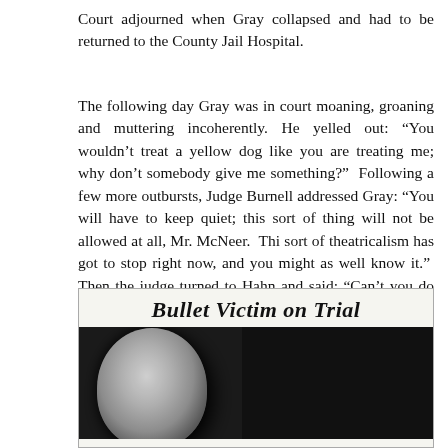Court adjourned when Gray collapsed and had to be returned to the County Jail Hospital.
The following day Gray was in court moaning, groaning and muttering incoherently. He yelled out: “You wouldn’t treat a yellow dog like you are treating me; why don’t somebody give me something?”  Following a few more outbursts, Judge Burnell addressed Gray: “You will have to keep quiet; this sort of thing will not be allowed at all, Mr. McNeer.  Thi sort of theatricalism has got to stop right now, and you might as well know it.”  Then the judge turned to Hahn and said: “Can’t you do something with your client, Mr. Hahn?”
[Figure (photo): Newspaper clipping with headline 'Bullet Victim on Trial' and a black-and-white photograph of a person's head/face, shown from above/side angle, against a dark background.]